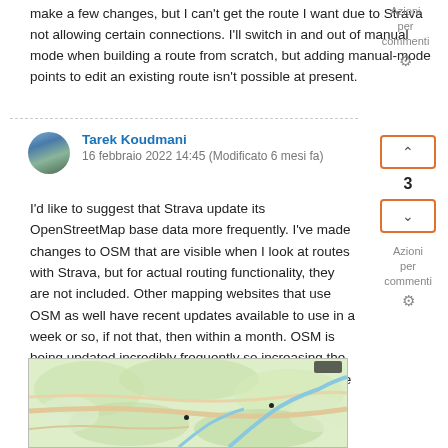make a few changes, but I can't get the route I want due to Strava not allowing certain connections. I'll switch in and out of manual mode when building a route from scratch, but adding manual-mode points to edit an existing route isn't possible at present.
Tarek Koudmani
16 febbraio 2022 14:45 (Modificato 6 mesi fa)
I'd like to suggest that Strava update its OpenStreetMap base data more frequently. I've made changes to OSM that are visible when I look at routes with Strava, but for actual routing functionality, they are not included. Other mapping websites that use OSM as well have recent updates available to use in a week or so, if not that, then within a month. OSM is being updated incredibly frequently so increasing the frequency that Strava updates this base data, that are usable for routes, is very beneficial.
[Figure (map): OpenStreetMap terrain map showing roads, rivers, and terrain with green/beige coloring and two map pin markers]